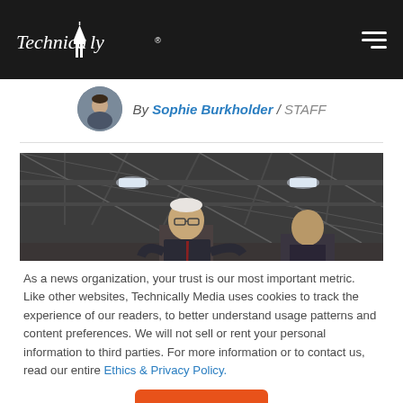Technically — navigation header
By Sophie Burkholder / STAFF
[Figure (photo): Industrial warehouse ceiling with lighting and a person speaking below]
As a news organization, your trust is our most important metric. Like other websites, Technically Media uses cookies to track the experience of our readers, to better understand usage patterns and content preferences. We will not sell or rent your personal information to third parties. For more information or to contact us, read our entire Ethics & Privacy Policy.
Close